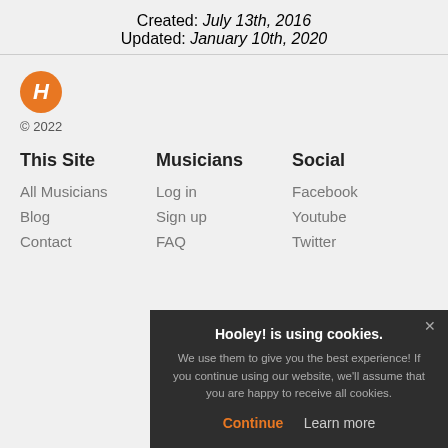Created: July 13th, 2016
Updated: January 10th, 2020
[Figure (logo): Orange circle with italic white H letter - Hooley logo]
© 2022
This Site
All Musicians
Blog
Contact
Musicians
Log in
Sign up
FAQ
Social
Facebook
Youtube
Twitter
Hooley! is using cookies.
We use them to give you the best experience! If you continue using our website, we'll assume that you are happy to receive all cookies.
Continue   Learn more